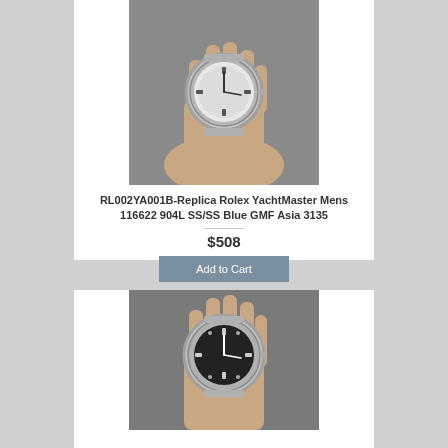[Figure (photo): Hand holding a Rolex YachtMaster replica watch with silver/white dial and stainless steel bracelet, photographed against grey background]
RL002YA001B-Replica Rolex YachtMaster Mens 116622 904L SS/SS Blue GMF Asia 3135
$508
Add to Cart
[Figure (photo): Hand holding a Rolex YachtMaster replica watch with dark/black dial and stainless steel bracelet, photographed against grey background]